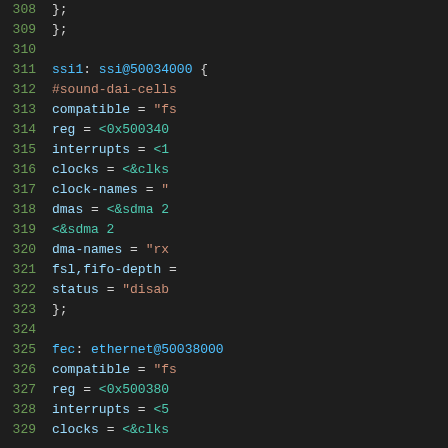Code listing lines 308-329, device tree source showing ssi1 and fec ethernet node definitions